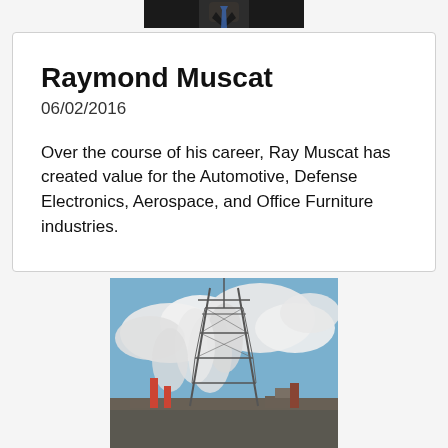[Figure (photo): Top portion of a person in a suit with tie, cropped — only lower face/neck/shoulders visible]
Raymond Muscat
06/02/2016
Over the course of his career, Ray Muscat has created value for the Automotive, Defense Electronics, Aerospace, and Office Furniture industries.
[Figure (photo): Industrial scene with a large electrical transmission tower/pylon surrounded by smoke stacks emitting steam/smoke against a cloudy sky]